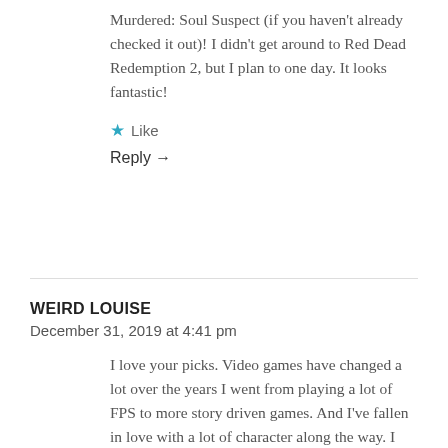Murdered: Soul Suspect (if you haven't already checked it out)! I didn't get around to Red Dead Redemption 2, but I plan to one day. It looks fantastic!
★ Like
Reply →
WEIRD LOUISE
December 31, 2019 at 4:41 pm
I love your picks. Video games have changed a lot over the years I went from playing a lot of FPS to more story driven games. And I've fallen in love with a lot of character along the way. I can't wait to see what 2020 has in store.